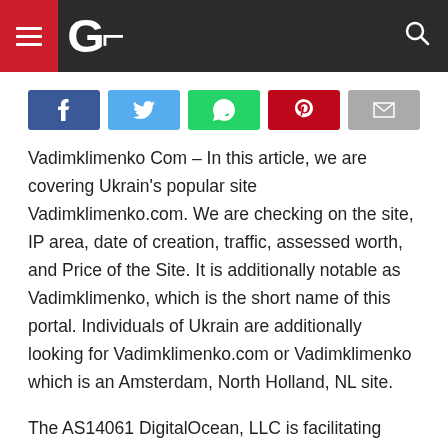GL [logo] [hamburger menu] [search icon]
[Figure (other): Social share buttons: Facebook, Twitter, WhatsApp, Pinterest, Email]
Vadimklimenko Com – In this article, we are covering Ukrain's popular site Vadimklimenko.com. We are checking on the site, IP area, date of creation, traffic, assessed worth, and Price of the Site. It is additionally notable as Vadimklimenko, which is the short name of this portal. Individuals of Ukrain are additionally looking for Vadimklimenko.com or Vadimklimenko which is an Amsterdam, North Holland, NL site.
The AS14061 DigitalOcean, LLC is facilitating Vadimklimenko.com and the server area of the portal Amsterdam, North Holland, NL as on 25 Apr 2022. This site is well known for distributing articles about Map. However, we observed numerous web clients are looking for